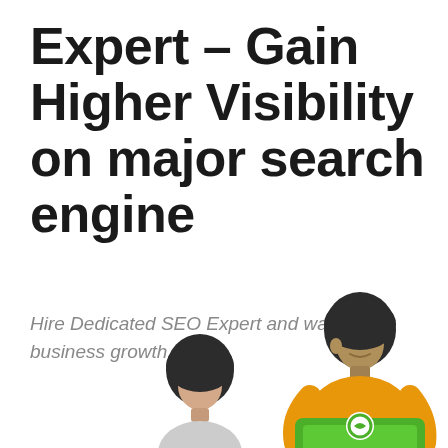Expert – Gain Higher Visibility on major search engine
Hire Dedicated SEO Expert and watch your business growth
[Figure (illustration): Two illustrated characters working on laptops. Left: a person with dark hair partially visible at bottom. Right: a person wearing an orange shirt working on a green laptop with a circular logo, dark hair, shown from waist up.]